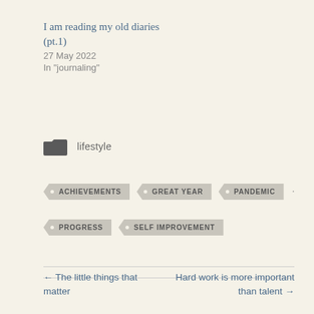I am reading my old diaries (pt.1)
27 May 2022
In "journaling"
lifestyle
ACHIEVEMENTS
GREAT YEAR
PANDEMIC
PROGRESS
SELF IMPROVEMENT
← The little things that matter     Hard work is more important than talent →